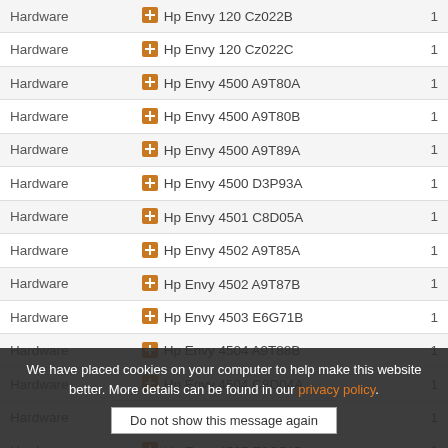| Category | Product | Qty |
| --- | --- | --- |
| Hardware | Hp Envy 120 Cz022B | 1 |
| Hardware | Hp Envy 120 Cz022C | 1 |
| Hardware | Hp Envy 4500 A9T80A | 1 |
| Hardware | Hp Envy 4500 A9T80B | 1 |
| Hardware | Hp Envy 4500 A9T89A | 1 |
| Hardware | Hp Envy 4500 D3P93A | 1 |
| Hardware | Hp Envy 4501 C8D05A | 1 |
| Hardware | Hp Envy 4502 A9T85A | 1 |
| Hardware | Hp Envy 4502 A9T87B | 1 |
| Hardware | Hp Envy 4503 E6G71B | 1 |
| Hardware | Hp Envy 4504 A9T88B | 1 |
| Hardware | Hp Envy 4504 C8D04A | 1 |
| Hardware | Hp Envy 4505 A9T86A | 1 |
| Hardware | Hp Envy 4507 E6G71B | 1 |
We have placed cookies on your computer to help make this website better. More details can be found in our privacy policy.